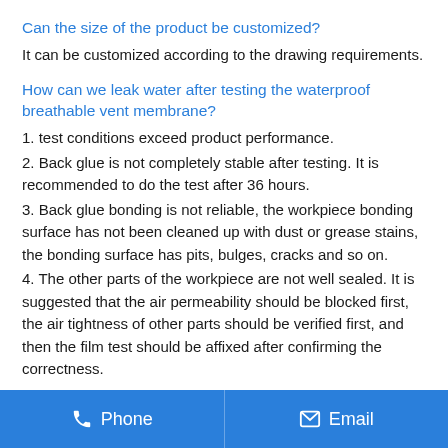Can the size of the product be customized?
It can be customized according to the drawing requirements.
How can we leak water after testing the waterproof breathable vent membrane?
1. test conditions exceed product performance.
2. Back glue is not completely stable after testing. It is recommended to do the test after 36 hours.
3. Back glue bonding is not reliable, the workpiece bonding surface has not been cleaned up with dust or grease stains, the bonding surface has pits, bulges, cracks and so on.
4. The other parts of the workpiece are not well sealed. It is suggested that the air permeability should be blocked first, the air tightness of other parts should be verified first, and then the film test should be affixed after confirming the correctness.
Phone  Email